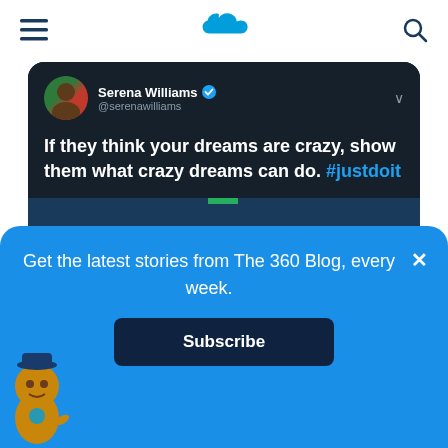Salesforce navigation header with hamburger menu, Salesforce cloud logo, and search icon
[Figure (screenshot): Tweet from @serenawilliams (Serena Williams, verified): 'If they think your dreams are crazy, show them what crazy dreams can do. #justdoit' with an embedded image of swimmers in a pool race.]
Get the latest stories from The 360 Blog, every week.
[Figure (illustration): Salesforce Astro mascot character in lower left corner of subscription bar]
Subscribe